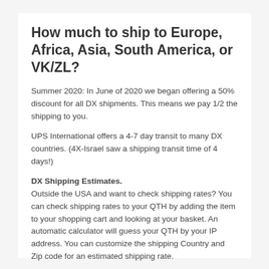How much to ship to Europe, Africa, Asia, South America, or VK/ZL?
Summer 2020: In June of 2020 we began offering a 50% discount for all DX shipments. This means we pay 1/2 the shipping to you.
UPS International offers a 4-7 day transit to many DX countries. (4X-Israel saw a shipping transit time of 4 days!)
DX Shipping Estimates. Outside the USA and want to check shipping rates? You can check shipping rates to your QTH by adding the item to your shopping cart and looking at your basket. An automatic calculator will guess your QTH by your IP address. You can customize the shipping Country and Zip code for an estimated shipping rate.